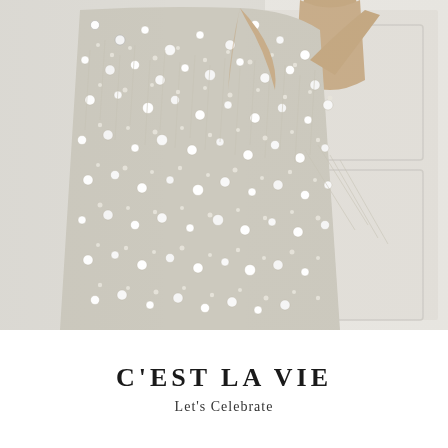[Figure (photo): Close-up photograph of a model wearing a heavily pearl and crystal-beaded white gown with fringe details, shown from neck to mid-thigh against a white paneled wall background. The dress is densely embellished with pearls and silver beads creating a textured, cascading fringe effect.]
C'EST LA VIE
Let's Celebrate